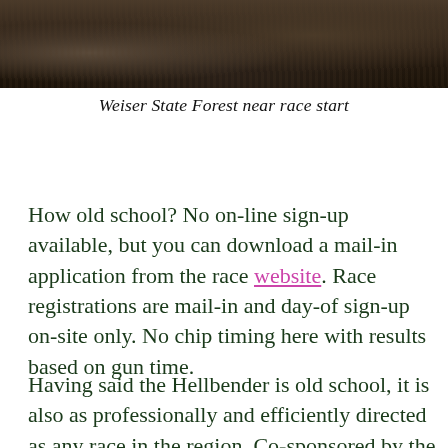[Figure (photo): Photograph of rocky ground in Weiser State Forest near the race start, showing dark soil and rocks with a muted brown-black color palette.]
Weiser State Forest near race start
How old school? No on-line sign-up available, but you can download a mail-in application from the race website. Race registrations are mail-in and day-of sign-up on-site only. No chip timing here with results based on gun time.
Having said the Hellbender is old school, it is also as professionally and efficiently directed as any race in the region. Co-sponsored by the